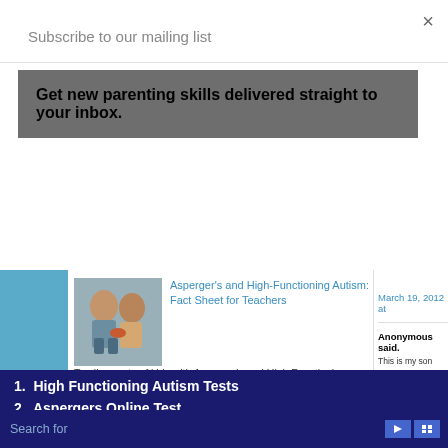Subscribe to our mailing list
Get new parenting skills delivered straight to your inbox.
×
[Figure (photo): Two children playing/eating together]
Asperger's and High-Functioning Autism: Fact Sheet for Teachers
To all parents of kids with Asperger's and High Functioning Autism: Below is a fact sheet that you can email (or hand-deliver a hardc...
March 19, 2012 at
Anonymous said.
This is my son exa at age 15 pronounc hears/talks. He has Can you also cove not) to autism/Asp ever does. He also
March 19, 2012 at
Anonymous said.
[Figure (photo): Adult and child hands close-up]
Tantrums and Meltdowns in Kids with Autism Spectrum
Search for
1.  High Functioning Autism Tests
2.  Aspergers Online Test